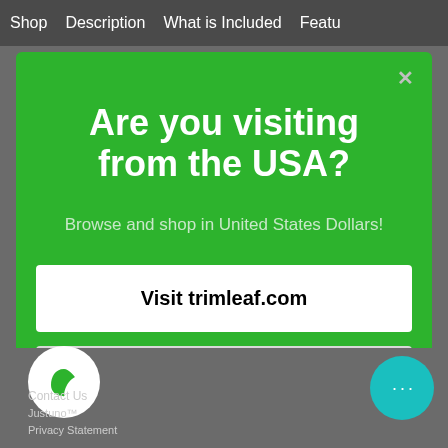Shop   Description   What is Included   Featu
Are you visiting from the USA?
Browse and shop in United States Dollars!
Visit trimleaf.com
Continue browsing
Contact Us
Justuno™
Privacy Statement